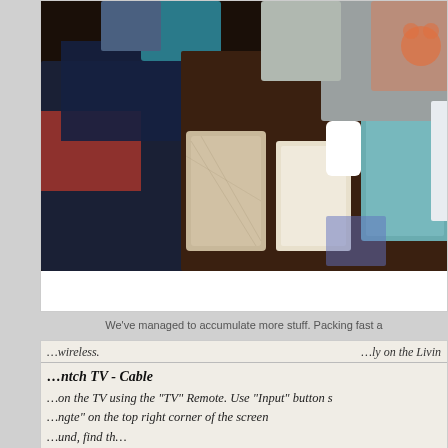[Figure (photo): Photo of baby clothes and items piled and organized on a dark surface, including folded garments, mesh laundry bags with baby clothes, knit items, and stuffed toys]
We've managed to accumulate more stuff. Packing fast a
...wireless.     ...ly on the Livin
...nitch TV - Cable
...on the TV using the "TV" Remote.  Use "Input" button s...ngte" on the top right corner of the screen...und, find th...